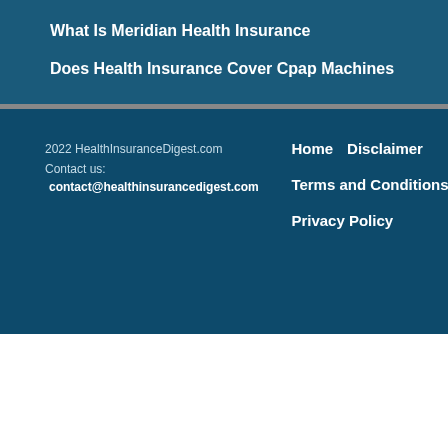What Is Meridian Health Insurance
Does Health Insurance Cover Cpap Machines
2022 HealthInsuranceDigest.com
Contact us:
contact@healthinsurancedigest.com
Home
Disclaimer
Terms and Conditions
Privacy Policy